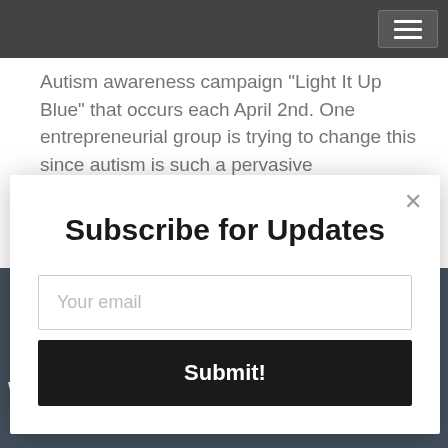Autism awareness campaign 'Light It Up Blue' that occurs each April 2nd. One entrepreneurial group is trying to change this since autism is such a pervasive
Subscribe for Updates
Your email
Submit!